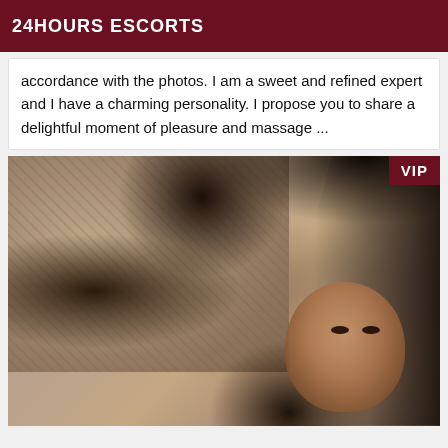24HOURS ESCORTS
accordance with the photos. I am a sweet and refined expert and I have a charming personality. I propose you to share a delightful moment of pleasure and massage ...
[Figure (photo): Photo of a woman with dark hair lying on a sofa or cushioned surface, looking at the camera. A VIP badge appears in the top right corner of the image.]